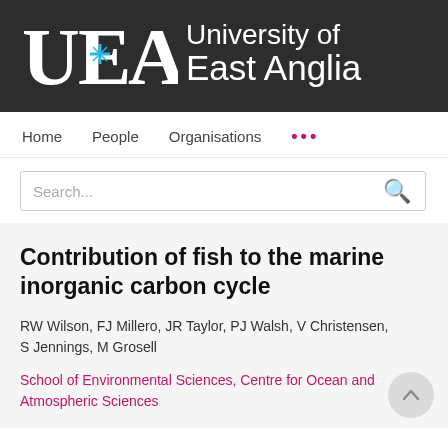[Figure (logo): University of East Anglia logo — UEA monogram with blue star and white text 'University of East Anglia' on dark background]
Home   People   Organisations   ...
Search...
Contribution of fish to the marine inorganic carbon cycle
RW Wilson, FJ Millero, JR Taylor, PJ Walsh, V Christensen, S Jennings, M Grosell
School of Environmental Sciences, Centre for Ocean and Atmospheric Sciences